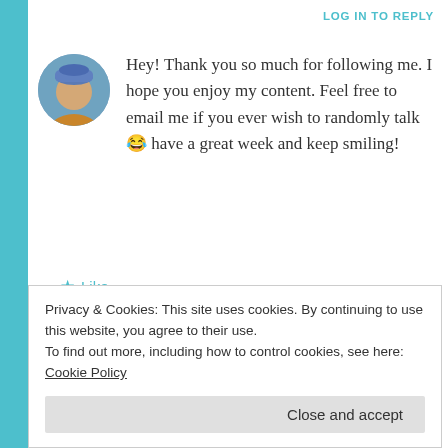LOG IN TO REPLY
Hey! Thank you so much for following me. I hope you enjoy my content. Feel free to email me if you ever wish to randomly talk 😂 have a great week and keep smiling!
★ Like
OLIVIA BATT  August 23, 2016 at 12:24 pm
Ok! Same to you:)
Privacy & Cookies: This site uses cookies. By continuing to use this website, you agree to their use.
To find out more, including how to control cookies, see here: Cookie Policy
Close and accept